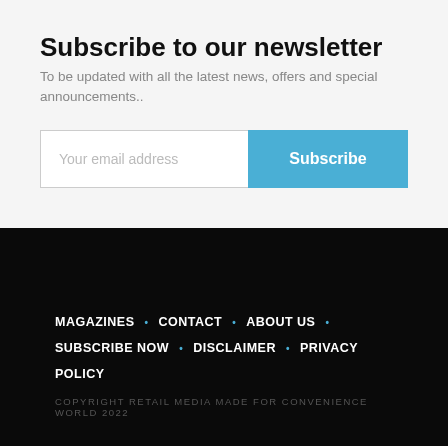Subscribe to our newsletter
To be updated with all the latest news, offers and special announcements..
Your email address
Subscribe
MAGAZINES • CONTACT • ABOUT US • SUBSCRIBE NOW • DISCLAIMER • PRIVACY POLICY
COPYRIGHT RETAIL MEDIA MADE FOR CONVENIENCE WORLD 2022